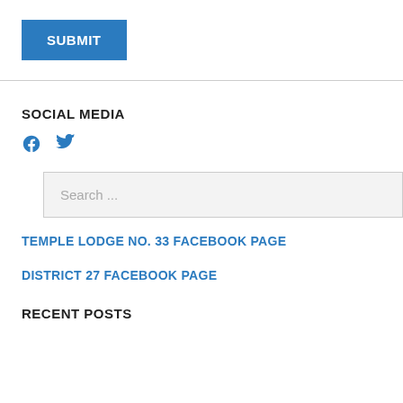SUBMIT
SOCIAL MEDIA
[Figure (illustration): Facebook and Twitter social media icons in blue]
Search ...
TEMPLE LODGE NO. 33 FACEBOOK PAGE
DISTRICT 27 FACEBOOK PAGE
RECENT POSTS